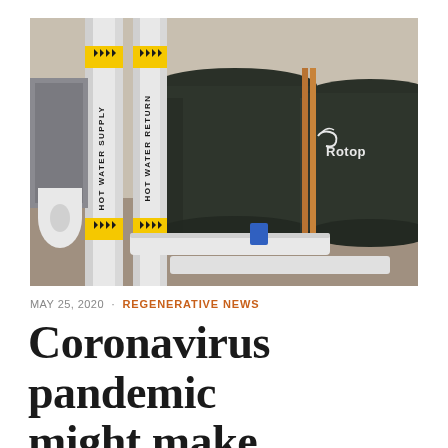[Figure (photo): Indoor utility room photograph showing white insulated pipes labeled 'HOT WATER SUPPLY' and 'HOT WATER RETURN' with yellow arrow tape, and large dark green/black cylindrical water storage tanks (Rotoplas brand visible) in the background]
MAY 25, 2020 · REGENERATIVE NEWS
Coronavirus pandemic might make buildings